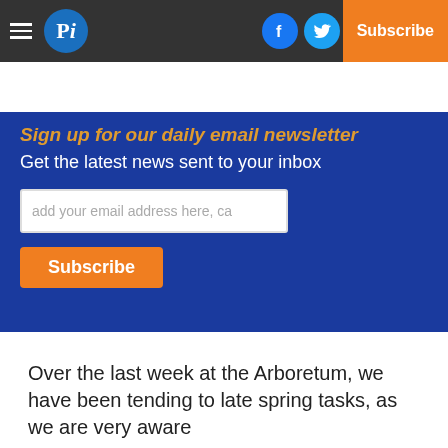Pi — Log In | Subscribe
Sign up for our daily email newsletter
Get the latest news sent to your inbox
add your email address here, ca
Subscribe
Over the last week at the Arboretum, we have been tending to late spring tasks, as we are very aware